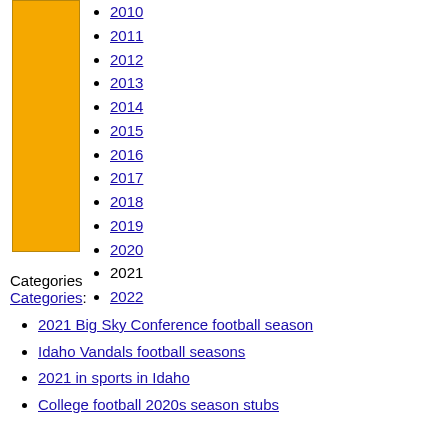[Figure (other): Gold/yellow vertical rectangular bar with dark border on the left side of the page]
2010
2011
2012
2013
2014
2015
2016
2017
2018
2019
2020
2021
2022
Categories
Categories:
2021 Big Sky Conference football season
Idaho Vandals football seasons
2021 in sports in Idaho
College football 2020s season stubs